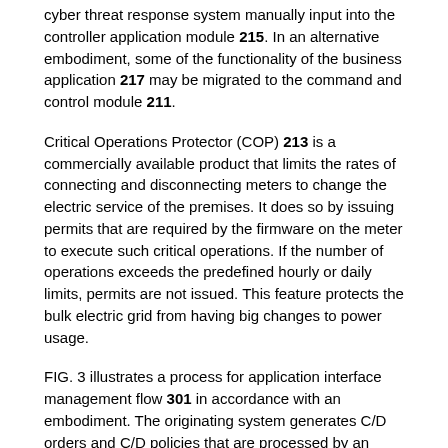cyber threat response system manually input into the controller application module 215. In an alternative embodiment, some of the functionality of the business application 217 may be migrated to the command and control module 211.
Critical Operations Protector (COP) 213 is a commercially available product that limits the rates of connecting and disconnecting meters to change the electric service of the premises. It does so by issuing permits that are required by the firmware on the meter to execute such critical operations. If the number of operations exceeds the predefined hourly or daily limits, permits are not issued. This feature protects the bulk electric grid from having big changes to power usage.
FIG. 3 illustrates a process for application interface management flow 301 in accordance with an embodiment. The originating system generates C/D orders and C/D policies that are processed by an Order Management Module 309 and a Policy Management Module 307. The Execution Management Module 309 sends execution of C/D orders through the COP/Bunker Module 393 based on the particular orders and the policies received from